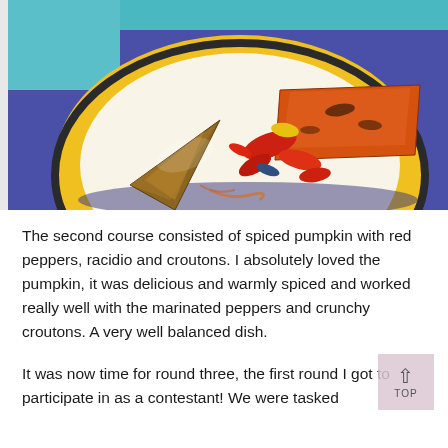[Figure (photo): A yellow plate with spiced pumpkin wedges, red peppers, and other roasted vegetables on a blue/purple background, photographed from above.]
The second course consisted of spiced pumpkin with red peppers, racidio and croutons. I absolutely loved the pumpkin, it was delicious and warmly spiced and worked really well with the marinated peppers and crunchy croutons. A very well balanced dish.
It was now time for round three, the first round I got to participate in as a contestant! We were tasked